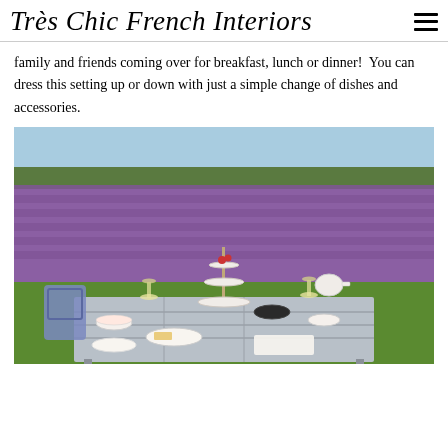Très Chic French Interiors
family and friends coming over for breakfast, lunch or dinner!  You can dress this setting up or down with just a simple change of dishes and accessories.
[Figure (photo): Outdoor dining table set with white china, tiered cake stand with strawberries, wine glasses, and bowls, situated in front of a sprawling purple lavender field under a blue sky.]